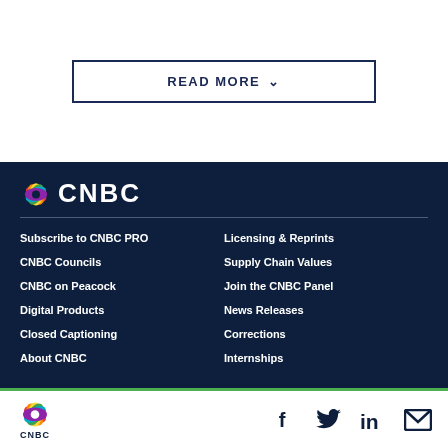READ MORE
Subscribe to CNBC PRO | CNBC Councils | CNBC on Peacock | Digital Products | Closed Captioning | About CNBC | Licensing & Reprints | Supply Chain Values | Join the CNBC Panel | News Releases | Corrections | Internships
[Figure (logo): CNBC logo with peacock and text CNBC in white on dark blue background]
[Figure (logo): CNBC logo with peacock in bottom bar, with social media icons for Facebook, Twitter, LinkedIn, and email]